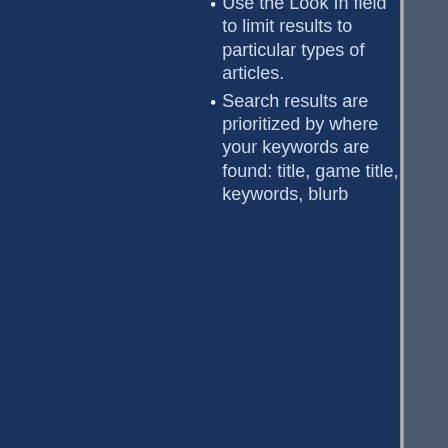Use the Look In field to limit results to particular types of articles.
Search results are prioritized by where your keywords are found: title, game title, keywords, blurb